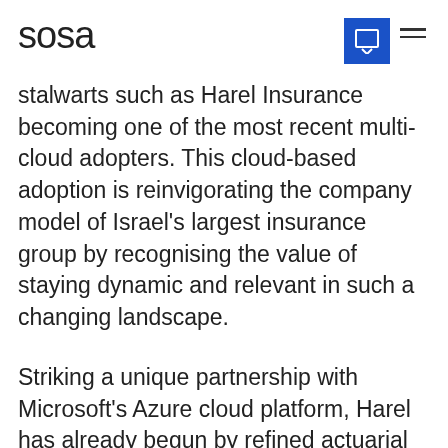sosa
stalwarts such as Harel Insurance becoming one of the most recent multi-cloud adopters. This cloud-based adoption is reinvigorating the company model of Israel's largest insurance group by recognising the value of staying dynamic and relevant in such a changing landscape.
Striking a unique partnership with Microsoft's Azure cloud platform, Harel has already begun by refined actuarial calculations through cloud servers and